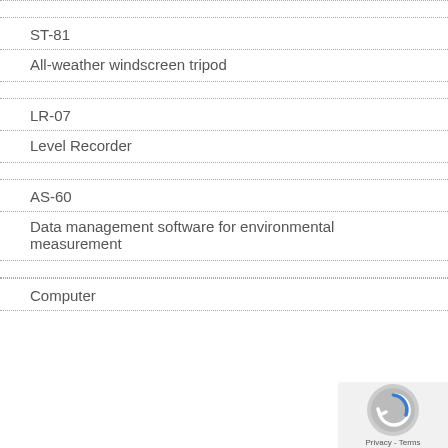ST-81
All-weather windscreen tripod
LR-07
Level Recorder
AS-60
Data management software for environmental measurement
Computer